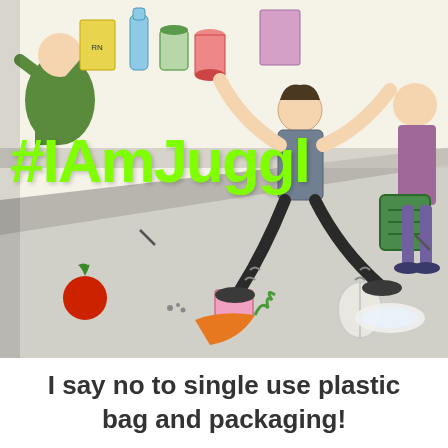[Figure (illustration): A cartoon illustration of a person juggling many grocery items at a checkout counter, dropping things on the floor including a tomato and carrot. Another person stands nearby with a green bag. The hashtag #IAmJuggl is overlaid in large bright green bold text across the image.]
I say no to single use plastic bag and packaging!